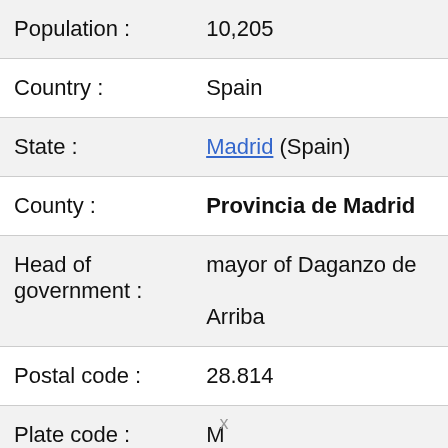| Field | Value |
| --- | --- |
| Population : | 10,205 |
| Country : | Spain |
| State : | Madrid (Spain) |
| County : | Provincia de Madrid |
| Head of government : | mayor of Daganzo de Arriba |
| Postal code : | 28.814 |
| Plate code : | M |
| … | …? |